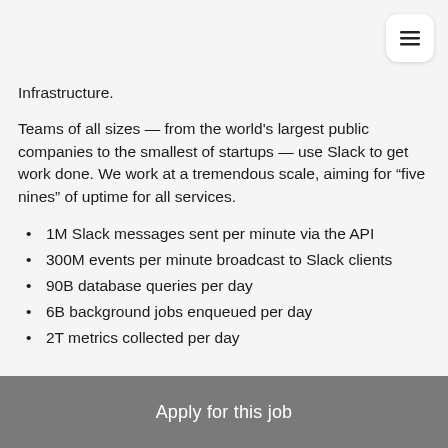[Figure (other): Hamburger menu icon button in top right corner]
Infrastructure.
Teams of all sizes — from the world's largest public companies to the smallest of startups — use Slack to get work done. We work at a tremendous scale, aiming for “five nines” of uptime for all services.
1M Slack messages sent per minute via the API
300M events per minute broadcast to Slack clients
90B database queries per day
6B background jobs enqueued per day
2T metrics collected per day
Our systems deliver trust and scale for people all over the
Apply for this job